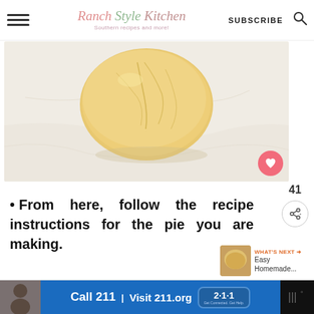Ranch Style Kitchen — Southern recipes and more! | SUBSCRIBE
[Figure (photo): Close-up of a ball of pie dough/pastry on a light marble surface, golden yellow color with cracks on top]
From here, follow the recipe instructions for the pie you are making.
ADVERTISEMENT
[Figure (photo): Advertisement banner: Call 211 | Visit 211.org with 2-1-1 logo badge, blue background, person image on left]